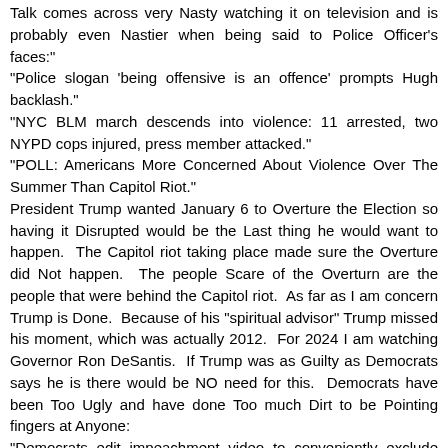Talk comes across very Nasty watching it on television and is probably even Nastier when being said to Police Officer's faces:
"Police slogan 'being offensive is an offence' prompts Hugh backlash."
"NYC BLM march descends into violence: 11 arrested, two NYPD cops injured, press member attacked."
"POLL: Americans More Concerned About Violence Over The Summer Than Capitol Riot."
President Trump wanted January 6 to Overture the Election so having it Disrupted would be the Last thing he would want to happen. The Capitol riot taking place made sure the Overture did Not happen. The people Scare of the Overturn are the people that were behind the Capitol riot. As far as I am concern Trump is Done. Because of his "spiritual advisor" Trump missed his moment, which was actually 2012. For 2024 I am watching Governor Ron DeSantis. If Trump was as Guilty as Democrats says he is there would be NO need for this. Democrats have been Too Ugly and have done Too much Dirt to be Pointing fingers at Anyone:
"Democrats edit impeachment video to conveniently exclude Trump's call to protest 'peacefully.'"
"Eric Swalwell, Democrats accused of doctoring pro-Trump tweet shown during impeachment trial."